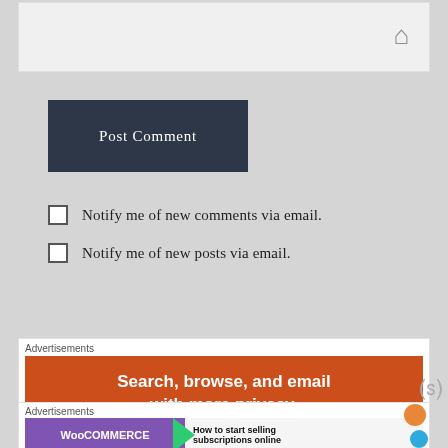[Figure (screenshot): Text input field with home icon on right side, light gray background]
[Figure (screenshot): Post Comment button, dark navy blue background with white serif text]
Notify me of new comments via email.
Notify me of new posts via email.
Advertisements
[Figure (infographic): Orange advertisement banner: Search, browse, and email with more privacy.]
Advertisements
[Figure (infographic): WooCommerce advertisement banner: How to start selling subscriptions online]